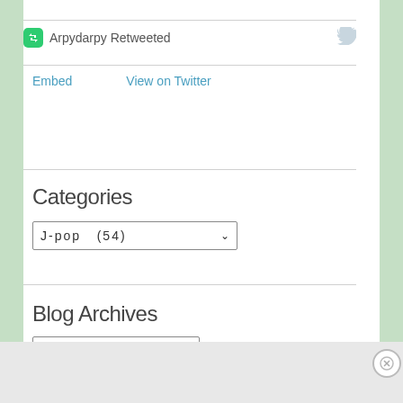Arpydarpy Retweeted
Embed   View on Twitter
Categories
J-pop  (54)
Blog Archives
Advertisements
[Figure (infographic): Advertisement banner: 'Create surveys, polls, quizzes, and forms.' with WordPress and crown logo icons on dark navy background]